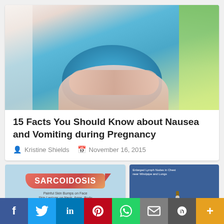[Figure (photo): Pregnant woman in blue top and pink sweater holding her belly]
15 Facts You Should Know about Nausea and Vomiting during Pregnancy
Kristine Shields   November 16, 2015
[Figure (infographic): Sarcoidosis infographic thumbnail with red banner label and blue background]
[Figure (infographic): Lung anatomy diagram showing enlarged lymph nodes near windpipe and lungs]
f  Twitter  in  Pinterest  WhatsApp  Email  Links  +